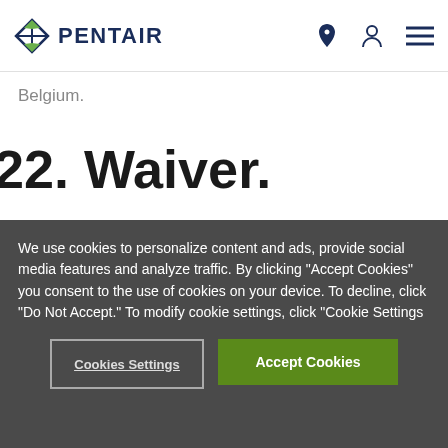PENTAIR
Belgium.
22. Waiver.
No failure to exercise, and no delay in exercising, on the part of either party, any right or any power hereunder shall operate as a waiver thereof, nor shall any single or
We use cookies to personalize content and ads, provide social media features and analyze traffic. By clicking “Accept Cookies” you consent to the use of cookies on your device. To decline, click “Do Not Accept.” To modify cookie settings, click “Cookie Settings